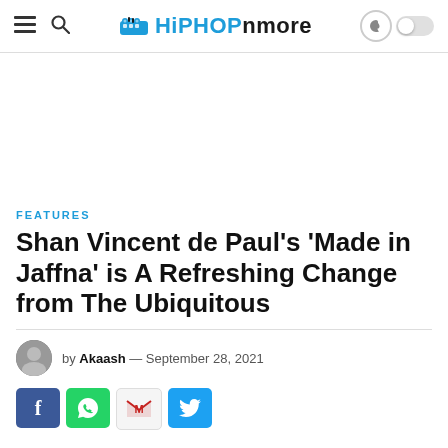HiPHOPnmore
FEATURES
Shan Vincent de Paul's 'Made in Jaffna' is A Refreshing Change from The Ubiquitous
by Akaash — September 28, 2021